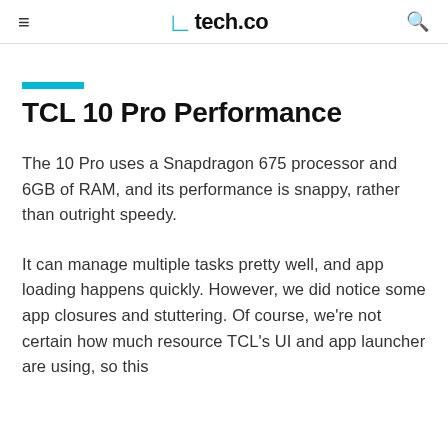tech.co
TCL 10 Pro Performance
The 10 Pro uses a Snapdragon 675 processor and 6GB of RAM, and its performance is snappy, rather than outright speedy.
It can manage multiple tasks pretty well, and app loading happens quickly. However, we did notice some app closures and stuttering. Of course, we’re not certain how much resource TCL’s UI and app launcher are using, so this